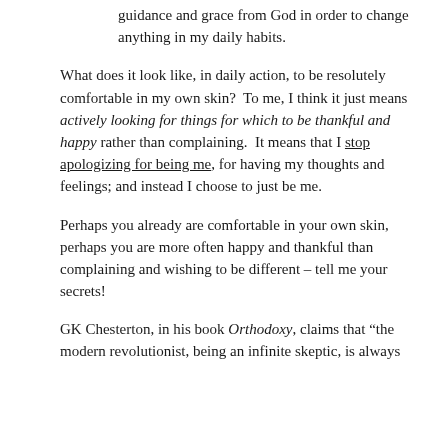guidance and grace from God in order to change anything in my daily habits.
What does it look like, in daily action, to be resolutely comfortable in my own skin?  To me, I think it just means actively looking for things for which to be thankful and happy rather than complaining.  It means that I stop apologizing for being me, for having my thoughts and feelings; and instead I choose to just be me.
Perhaps you already are comfortable in your own skin, perhaps you are more often happy and thankful than complaining and wishing to be different – tell me your secrets!
GK Chesterton, in his book Orthodoxy, claims that "the modern revolutionist, being an infinite skeptic, is always